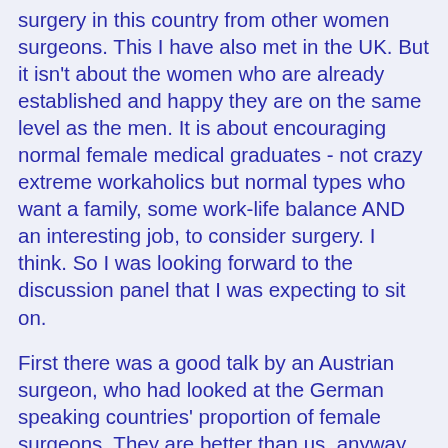surgery in this country from other women surgeons. This I have also met in the UK. But it isn't about the women who are already established and happy they are on the same level as the men. It is about encouraging normal female medical graduates - not crazy extreme workaholics but normal types who want a family, some work-life balance AND an interesting job, to consider surgery. I think. So I was looking forward to the discussion panel that I was expecting to sit on.
First there was a good talk by an Austrian surgeon, who had looked at the German speaking countries' proportion of female surgeons. They are better than us, anyway, with some highlights in paediatric surgery (50%!) and plastics. What are they doing right? Rest of surgical specialties all around 10-15% , with the same failure to increase numbers like the non-surgical specialties, so nothing spectacular. A talk on the history of women's involvement with the foundation of the Mayo clinic followed, then we had a crazy talk by a woman in black and white dogtooth suit with bright red hair which was all not in English either - so probably not crazy at all, I didn't have a lot to judge it by - and all rhymed